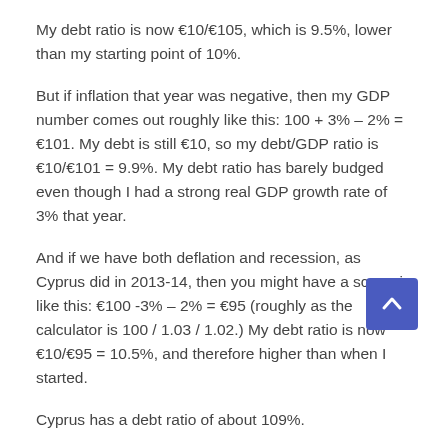My debt ratio is now €10/€105, which is 9.5%, lower than my starting point of 10%.
But if inflation that year was negative, then my GDP number comes out roughly like this: 100 + 3% – 2% = €101. My debt is still €10, so my debt/GDP ratio is €10/€101 = 9.9%. My debt ratio has barely budged even though I had a strong real GDP growth rate of 3% that year.
And if we have both deflation and recession, as Cyprus did in 2013-14, then you might have a scenario like this: €100 -3% – 2% = €95 (roughly as the calculator is 100 / 1.03 / 1.02.) My debt ratio is now €10/€95 = 10.5%, and therefore higher than when I started.
Cyprus has a debt ratio of about 109%.
Debt ratios above 100% get the unwelcome attention of rating agencies, especially when they are combined with a